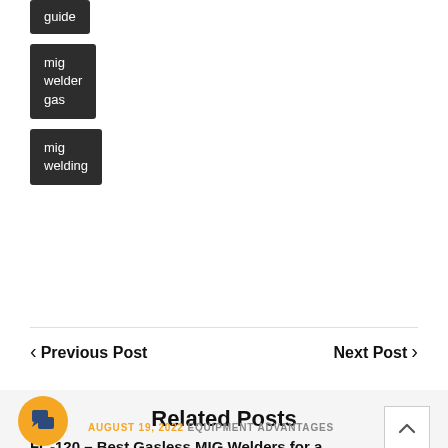guide
mig welder gas
mig welding
< Previous Post
Next Post >
Related Posts
[Figure (illustration): Orange circular chat/comment icon with dark speech bubble icons inside]
AUGUST 19, 2022  EQUIPMENT ADVANTAGES
FC-120 – Best Gasless MIG Welders for a
[Figure (illustration): White scroll-to-top button with upward chevron arrow, light gray border]